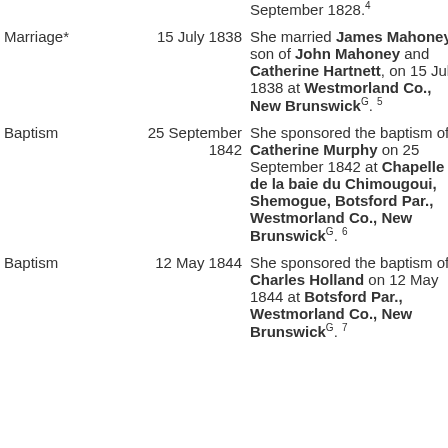| Event | Date | Description |
| --- | --- | --- |
|  |  | September 1828.⁴ |
| Marriage* | 15 July 1838 | She married James Mahoney, son of John Mahoney and Catherine Hartnett, on 15 July 1838 at Westmorland Co., New BrunswickG. 5 |
| Baptism | 25 September 1842 | She sponsored the baptism of Catherine Murphy on 25 September 1842 at Chapelle de la baie du Chimougoui, Shemogue, Botsford Par., Westmorland Co., New BrunswickG. 6 |
| Baptism | 12 May 1844 | She sponsored the baptism of Charles Holland on 12 May 1844 at Botsford Par., Westmorland Co., New BrunswickG. 7 |